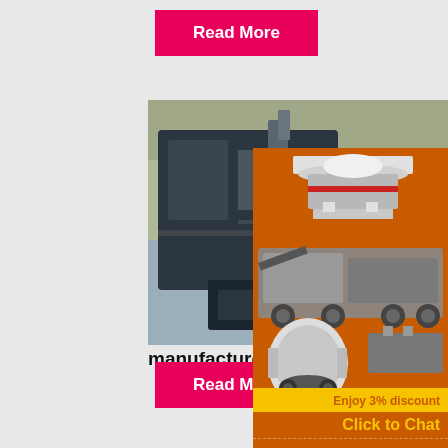Read More
[Figure (photo): Industrial crusher machinery at a quarry/mining site with rocky background, conveyor belt and heavy equipment visible]
manufacture in tzaneen - auto
crusher manufacture in tzaneen. Crusher
[Figure (infographic): Orange sidebar advertisement showing industrial crushing/milling equipment images with 'Enjoy 3% discount' yellow bar and 'Click to Chat' orange bar, followed by Enquiry section with email limingjlmofen@sina.com]
Read More